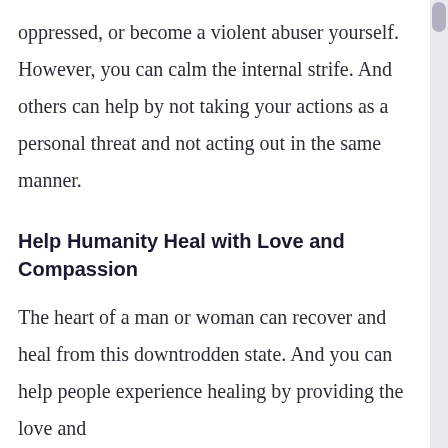oppressed, or become a violent abuser yourself. However, you can calm the internal strife. And others can help by not taking your actions as a personal threat and not acting out in the same manner.
Help Humanity Heal with Love and Compassion
The heart of a man or woman can recover and heal from this downtrodden state. And you can help people experience healing by providing the love and